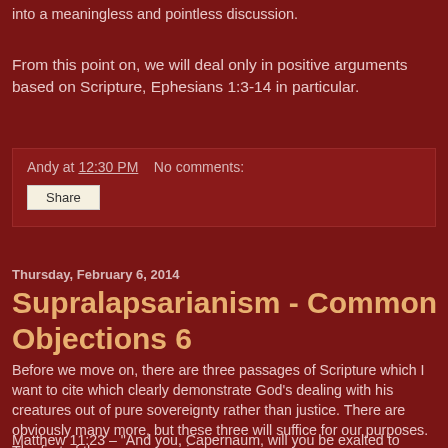into a meaningless and pointless discussion.
From this point on, we will deal only in positive arguments based on Scripture, Ephesians 1:3-14 in particular.
Andy at 12:30 PM   No comments:
Share
Thursday, February 6, 2014
Supralapsarianism - Common Objections 6
Before we move on, there are three passages of Scripture which I want to cite which clearly demonstrate God's dealing with his creatures out of pure sovereignty rather than justice. There are obviously many more, but these three will suffice for our purposes. The first of these passages is:
Matthew 11:23 – "And you, Capernaum, will you be exalted to heaven?